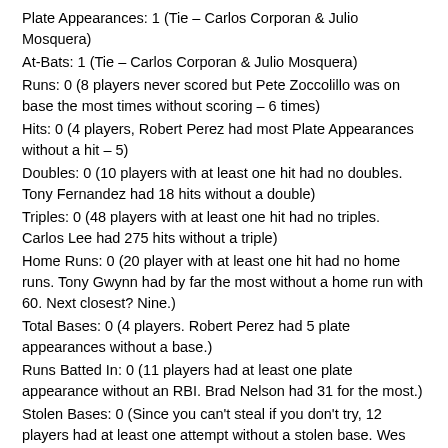Plate Appearances: 1 (Tie – Carlos Corporan & Julio Mosquera)
At-Bats: 1 (Tie – Carlos Corporan & Julio Mosquera)
Runs: 0 (8 players never scored but Pete Zoccolillo was on base the most times without scoring – 6 times)
Hits: 0 (4 players, Robert Perez had most Plate Appearances without a hit – 5)
Doubles: 0 (10 players with at least one hit had no doubles. Tony Fernandez had 18 hits without a double)
Triples: 0 (48 players with at least one hit had no triples. Carlos Lee had 275 hits without a triple)
Home Runs: 0 (20 player with at least one hit had no home runs. Tony Gwynn had by far the most without a home run with 60. Next closest? Nine.)
Total Bases: 0 (4 players. Robert Perez had 5 plate appearances without a base.)
Runs Batted In: 0 (11 players had at least one plate appearance without an RBI. Brad Nelson had 31 for the most.)
Stolen Bases: 0 (Since you can't steal if you don't try, 12 players had at least one attempt without a stolen base. Wes Helms and Felipe Lopez tied for the most with 3.)
Times Caught Stealing: 0 (16 players with at least one stolen base were